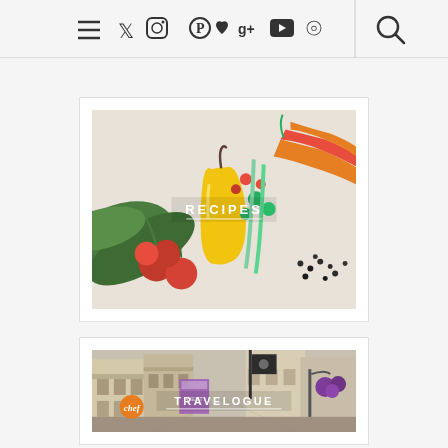Navigation bar with menu, social icons (Twitter, Instagram, Pinterest, Bloglovin, Google+, YouTube, RSS) and search
[Figure (photo): Colorful fresh vegetables including radishes, yellow pepper, carrots, green peas, and black pepper seeds on a white surface with text overlay 'RECIPES']
[Figure (photo): European city street scene with buildings, hanging flower baskets, flags and signs with text overlay 'TRAVELOGUE' and orange chef badge]